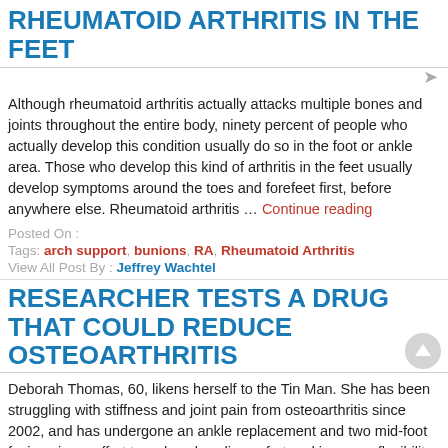RHEUMATOID ARTHRITIS IN THE FEET
Although rheumatoid arthritis actually attacks multiple bones and joints throughout the entire body, ninety percent of people who actually develop this condition usually do so in the foot or ankle area. Those who develop this kind of arthritis in the feet usually develop symptoms around the toes and forefeet first, before anywhere else. Rheumatoid arthritis … Continue reading
Posted On :
Tags: arch support, bunions, RA, Rheumatoid Arthritis
View All Post By : Jeffrey Wachtel
RESEARCHER TESTS A DRUG THAT COULD REDUCE OSTEOARTHRITIS
Deborah Thomas, 60, likens herself to the Tin Man. She has been struggling with stiffness and joint pain from osteoarthritis since 2002, and has undergone an ankle replacement and two mid-foot fusions in an effort to reduce her discomfort and increase flexibility. Researchers